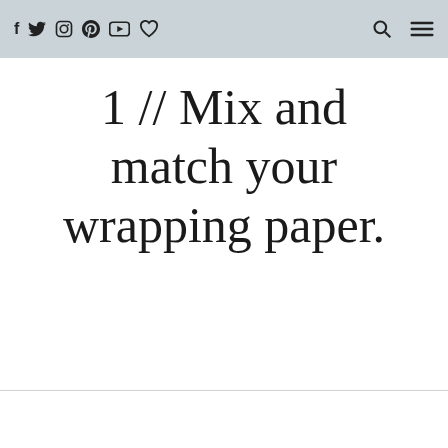f  Twitter  Instagram  Pinterest  YouTube  ♡  [search]  [menu]
1 // Mix and match your wrapping paper.